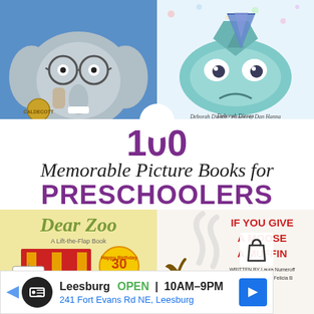[Figure (illustration): Top-left book cover: cartoon elephant with glasses looking worried, blue background, Caldecott medal]
[Figure (illustration): Top-right book cover: large blue fish with sad expression wearing party hat, confetti background. Text: 'Deborah Diesen  Pictures by Dan Hanna']
100 Memorable Picture Books for PRESCHOOLERS
[Figure (illustration): Bottom-left book cover: Dear Zoo A Lift-the-Flap Book, Happy Birthday 30 Years Dear Zoo badge, red barn door with FROM THE ZOO tag]
[Figure (illustration): Bottom-right book cover: If You Give a Moose a Muffin, Written by Laura Numeroff, Illustrated by Felicia B]
[Figure (other): Shopping bag icon in white circle]
Leesburg  OPEN 10AM–9PM
241 Fort Evans Rd NE, Leesburg